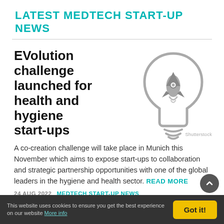LATEST MEDTECH START-UP NEWS
EVolution challenge launched for health and hygiene start-ups
[Figure (illustration): Light bulb icon with a rocket ship inside it, representing startup innovation. Gray outline style. Shutterstock watermark visible.]
A co-creation challenge will take place in Munich this November which aims to expose start-ups to collaboration and strategic partnership opportunities with one of the global leaders in the hygiene and health sector. READ MORE
24 AUG 2022   MEDTECH START-UP NEWS
This website uses cookies to ensure you get the best experience on our website More info   Got it!